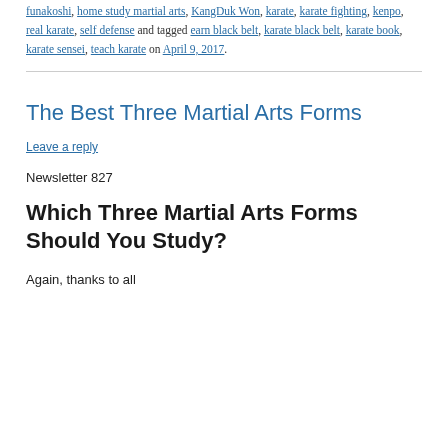funakoshi, home study martial arts, KangDuk Won, karate, karate fighting, kenpo, real karate, self defense and tagged earn black belt, karate black belt, karate book, karate sensei, teach karate on April 9, 2017.
The Best Three Martial Arts Forms
Leave a reply
Newsletter 827
Which Three Martial Arts Forms Should You Study?
Again, thanks to all